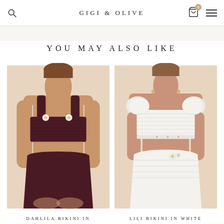GIGI & OLIVE
YOU MAY ALSO LIKE
[Figure (photo): Woman wearing a dark burgundy/brown smocked bikini set with white floral detail on bandeau top and high-waist bottoms, against a beige background.]
[Figure (photo): Woman wearing a white crochet/smocked bikini set with short puff sleeves on the top and floral detail on the bottoms, against a beige background.]
DAHLILA BIKINI IN
LILI BIKINI IN WHITE